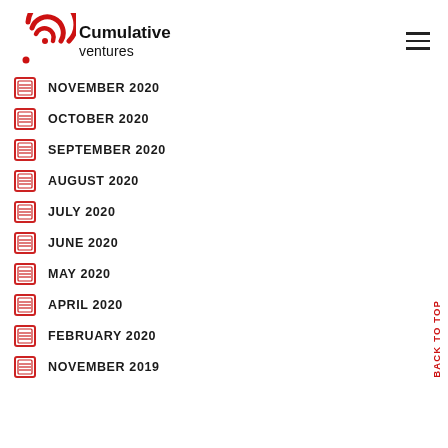[Figure (logo): Cumulative Ventures logo with red circular arc icon and black text]
NOVEMBER 2020
OCTOBER 2020
SEPTEMBER 2020
AUGUST 2020
JULY 2020
JUNE 2020
MAY 2020
APRIL 2020
FEBRUARY 2020
NOVEMBER 2019